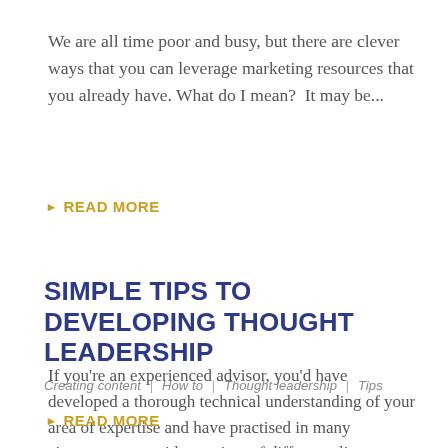We are all time poor and busy, but there are clever ways that you can leverage marketing resources that you already have. What do I mean?  It may be...
READ MORE
SIMPLE TIPS TO DEVELOPING THOUGHT LEADERSHIP
Creating content  |  How to  |  Thought leadership  |  Tips
If you're an experienced advisor, you'd have developed a thorough technical understanding of your area of expertise and have practised in many circumstances, with a variety of different clients....
READ MORE